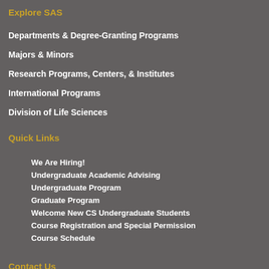Explore SAS
Departments & Degree-Granting Programs
Majors & Minors
Research Programs, Centers, & Institutes
International Programs
Division of Life Sciences
Quick Links
We Are Hiring!
Undergraduate Academic Advising
Undergraduate Program
Graduate Program
Welcome New CS Undergraduate Students
Course Registration and Special Permission
Course Schedule
Contact Us